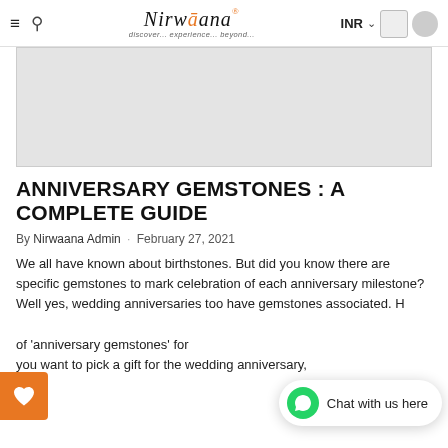Nirwaana — discover... experience... beyond... | INR
[Figure (photo): Hero image placeholder — light grey rectangle representing a banner image]
ANNIVERSARY GEMSTONES : A COMPLETE GUIDE
By Nirwaana Admin · February 27, 2021
We all have known about birthstones. But did you know there are specific gemstones to mark celebration of each anniversary milestone? Well yes, wedding anniversaries too have gemstones associated. Here is a complete guide of 'anniversary gemstones' for you to refer to when you want to pick a gift for the wedding anniversary,